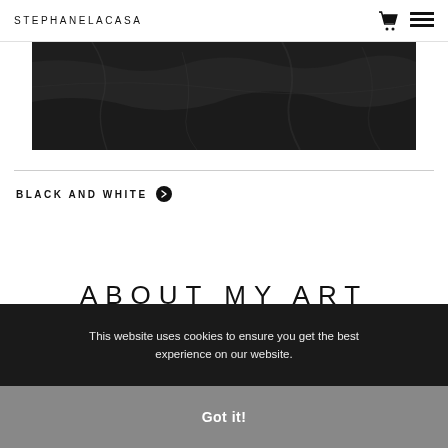STEPHANELACASA
[Figure (photo): Dark textured rocky surface, black and white photography]
BLACK AND WHITE ❯
ABOUT MY ART
This website uses cookies to ensure you get the best experience on our website.
Got it!